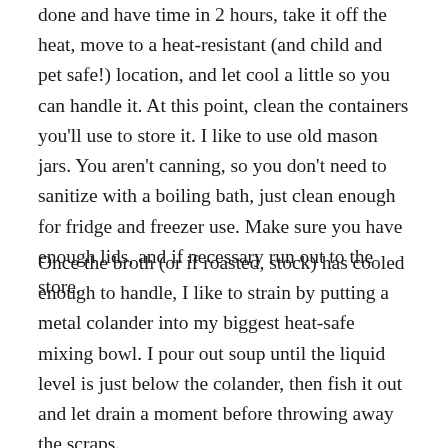done and have time in 2 hours, take it off the heat, move to a heat-resistant (and child and pet safe!) location, and let cool a little so you can handle it. At this point, clean the containers you'll use to store it. I like to use old mason jars. You aren't canning, so you don't need to sanitize with a boiling bath, just clean enough for fridge and freezer use. Make sure you have enough lids, and if necessary run out to the store.
Once the broth (or if roasted, stock) has cooled enough to handle, I like to strain by putting a metal colander into my biggest heat-safe mixing bowl. I pour out soup until the liquid level is just below the colander, then fish it out and let drain a moment before throwing away the scraps.